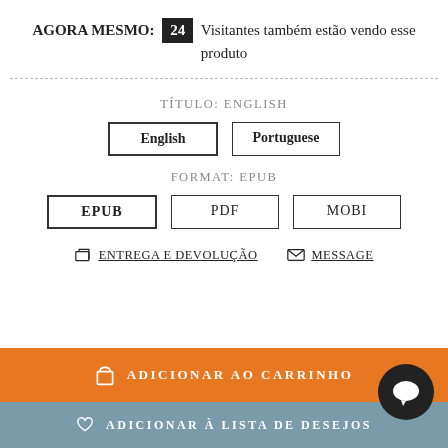AGORA MESMO: 24 Visitantes também estão vendo esse produto
TÍTULO: ENGLISH
English | Portuguese
FORMAT: EPUB
EPUB | PDF | MOBI
ENTREGA E DEVOLUÇÃO | MESSAGE
ADICIONAR AO CARRINHO
ADICIONAR À LISTA DE DESEJOS